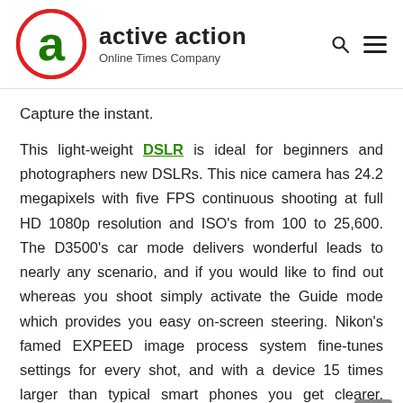[Figure (logo): Active Action logo: letter 'a' in dark green inside a red-outlined circle, with brand name 'active action' in bold black and tagline 'Online Times Company' in gray below]
Capture the instant.
This light-weight DSLR is ideal for beginners and photographers new DSLRs. This nice camera has 24.2 megapixels with five FPS continuous shooting at full HD 1080p resolution and ISO's from 100 to 25,600. The D3500's car mode delivers wonderful leads to nearly any scenario, and if you would like to find out whereas you shoot simply activate the Guide mode which provides you easy on-screen steering. Nikon's famed EXPEED image process system fine-tunes settings for every shot, and with a device 15 times larger than typical smart phones you get clearer, sharper photos. with richer details. With